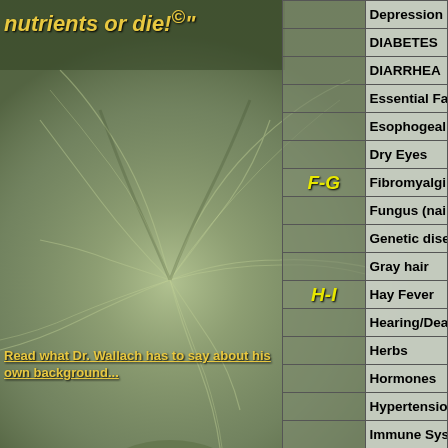nutrients or die!©"
Read what Dr. Wallach has to say about his own background...
| Section | Topic |
| --- | --- |
|  | Depression |
|  | DIABETES |
|  | DIARRHEA |
|  | Essential Fa |
|  | Esophogeal |
|  | Dry Eyes |
| F-G | Fibromyalgi |
|  | Fungus (nai |
|  | Genetic dise |
|  | Gray hair |
| H-I | Hay Fever |
|  | Hearing/Dea |
|  | Herbs |
|  | Hormones |
|  | Hypertensio |
|  | Immune Sys |
|  | IODINE |
| J-K-L | Kidney dise |
Once you find your needed nutrient, find your required